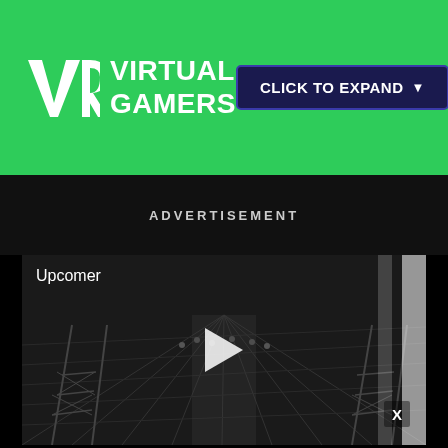[Figure (logo): Virtual Gamers logo with VR monogram on green background, with 'CLICK TO EXPAND' button]
ADVERTISEMENT
[Figure (screenshot): Video player thumbnail showing aerial view of an esports arena with scaffolding and crowds. Shows 'Upcomer' label, play button, and X close button.]